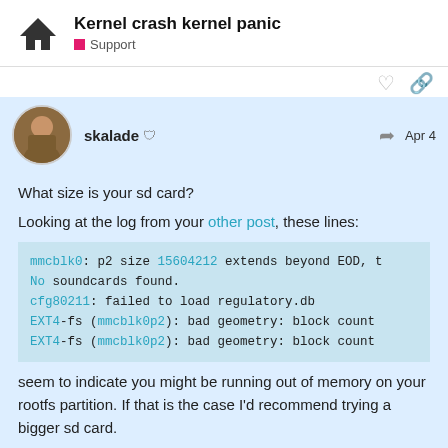Kernel crash kernel panic
Support
skalade  Apr 4
What size is your sd card?
Looking at the log from your other post, these lines:
mmcblk0: p2 size 15604212 extends beyond EOD, t
No soundcards found.
cfg80211: failed to load regulatory.db
EXT4-fs (mmcblk0p2): bad geometry: block count
EXT4-fs (mmcblk0p2): bad geometry: block count
seem to indicate you might be running out of memory on your rootfs partition. If that is the case I'd recommend trying a bigger sd card.
Thanks
Shawn